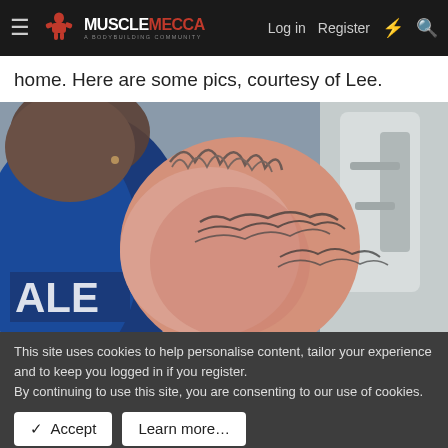Muscle Mecca — Log in | Register
home. Here are some pics, courtesy of Lee.
[Figure (photo): Close-up photo of a muscular person's arm/shoulder with flame and tribal tattoos, wearing a blue Yale shirt, outdoors near white gym equipment.]
This site uses cookies to help personalise content, tailor your experience and to keep you logged in if you register.
By continuing to use this site, you are consenting to our use of cookies.